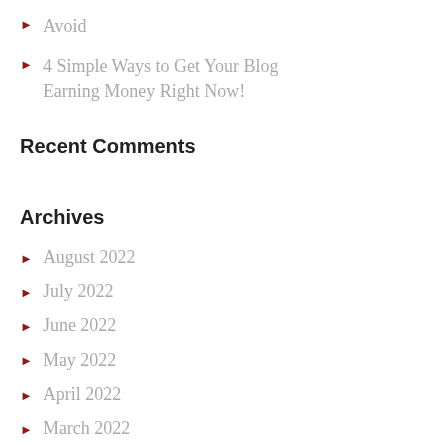Avoid
4 Simple Ways to Get Your Blog Earning Money Right Now!
Recent Comments
Archives
August 2022
July 2022
June 2022
May 2022
April 2022
March 2022
February 2022